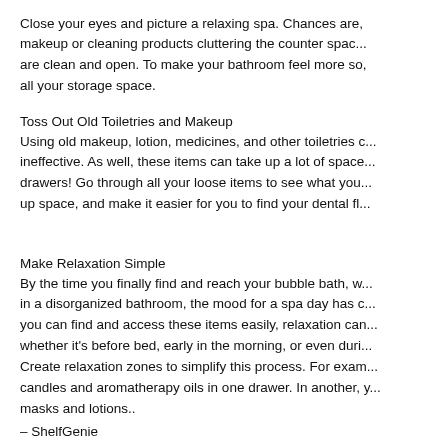Close your eyes and picture a relaxing spa. Chances are, there's no makeup or cleaning products cluttering the counter space. The counters are clean and open. To make your bathroom feel more so, use all your storage space.
Toss Out Old Toiletries and Makeup
Using old makeup, lotion, medicines, and other toiletries can be ineffective. As well, these items can take up a lot of space in your drawers! Go through all your loose items to see what you can toss to free up space, and make it easier for you to find your dental fl...
Make Relaxation Simple
By the time you finally find and reach your bubble bath, w... in a disorganized bathroom, the mood for a spa day has d... you can find and access these items easily, relaxation can... whether it's before bed, early in the morning, or even duri... Create relaxation zones to simplify this process. For exam... candles and aromatherapy oils in one drawer. In another, y... masks and lotions..
– ShelfGenie